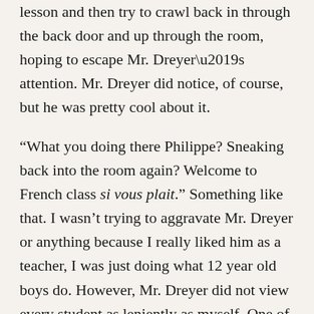lesson and then try to crawl back in through the back door and up through the room, hoping to escape Mr. Dreyer's attention. Mr. Dreyer did notice, of course, but he was pretty cool about it.
“What you doing there Philippe? Sneaking back into the room again? Welcome to French class si vous plait.” Something like that. I wasn’t trying to aggravate Mr. Dreyer or anything because I really liked him as a teacher, I was just doing what 12 year old boys do. However, Mr. Dreyer did not view every student as leniently as myself. One of my classmates was a guy we’ll call “E.P.” E.P. was a trouble-maker, and was known to pull the fire alarm